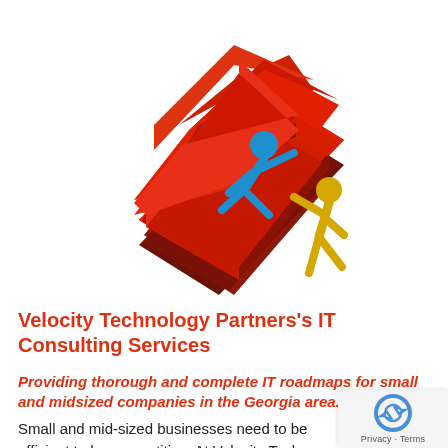[Figure (illustration): 3D red arrow pointing upward-left at an angle, with a blue stick figure climbing the arrow and a yellow stick figure pushing from behind at the base.]
Velocity Technology Partners's IT Consulting Services
Providing thorough and complete IT roadmaps for small and midsized companies in the Georgia area.
Small and mid-sized businesses need to be efficient to be competitive. At Velocity Techno Partners, we deal in efficiency. We provide